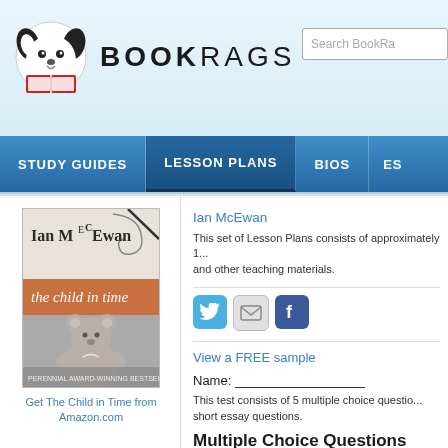[Figure (logo): BookRags logo with dog mascot and bold BOOKRAGS text]
Search BookRa...
STUDY GUIDES | LESSON PLANS | BIOS | ES...
[Figure (photo): Book cover of 'The Child in Time' by Ian McEwan showing a stuffed teddy bear in black and white]
Get The Child in Time from Amazon.com
The Child in Time Test | Fina...
Ian McEwan
This set of Lesson Plans consists of approximately 1... and other teaching materials.
[Figure (logo): Social sharing icons: Twitter, Email, Facebook]
View a FREE sample
Name:
This test consists of 5 multiple choice questio... short essay questions.
Multiple Choice Questions